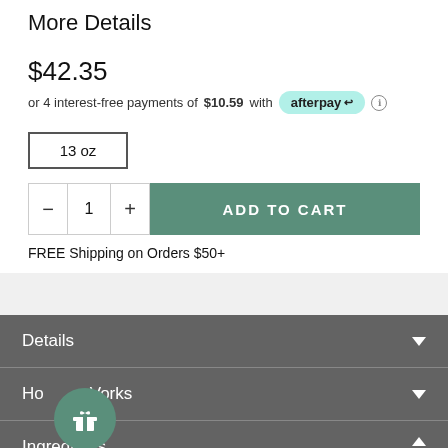More Details
$42.35
or 4 interest-free payments of $10.59 with afterpay
13 oz
ADD TO CART
FREE Shipping on Orders $50+
Details
How It Works
Ingredients